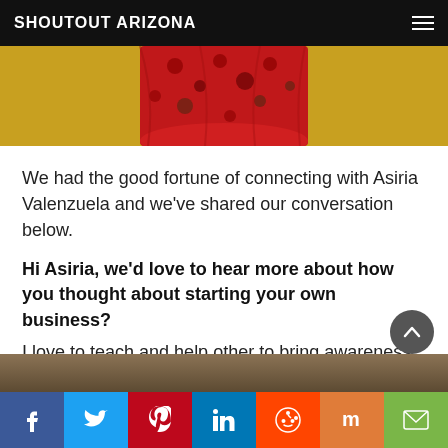SHOUTOUT ARIZONA
[Figure (photo): Partial photo of a person wearing a red floral dress against a mustard/yellow background, cropped at waist level]
We had the good fortune of connecting with Asiria Valenzuela and we've shared our conversation below.
Hi Asiria, we'd love to hear more about how you thought about starting your own business?
I love to teach and help other to bring awareness into their life.
[Figure (photo): Brown/wood tone banner footer strip]
Social share buttons: Facebook, Twitter, Pinterest, LinkedIn, Reddit, Mix, Email